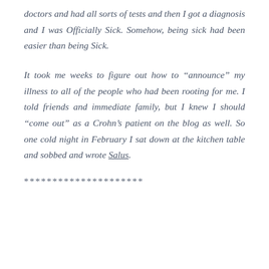doctors and had all sorts of tests and then I got a diagnosis and I was Officially Sick. Somehow, being sick had been easier than being Sick.
It took me weeks to figure out how to “announce” my illness to all of the people who had been rooting for me. I told friends and immediate family, but I knew I should “come out” as a Crohn’s patient on the blog as well. So one cold night in February I sat down at the kitchen table and sobbed and wrote Salus.
*********************